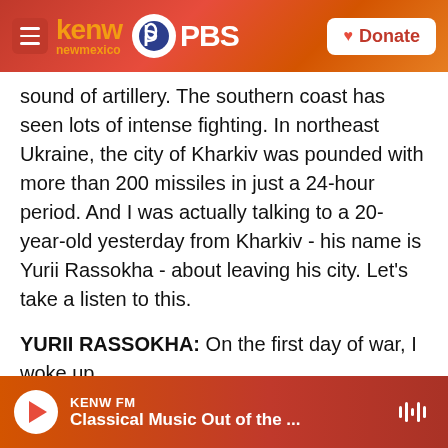[Figure (screenshot): KENW New Mexico PBS website header with logo, hamburger menu, and Donate button on gradient red-orange background]
sound of artillery. The southern coast has seen lots of intense fighting. In northeast Ukraine, the city of Kharkiv was pounded with more than 200 missiles in just a 24-hour period. And I was actually talking to a 20-year-old yesterday from Kharkiv - his name is Yurii Rassokha - about leaving his city. Let's take a listen to this.
YURII RASSOKHA: On the first day of war, I woke up...
(SOUNDBITE OF AIR RAID SIREN)
RASSOKHA:    Just from the sound of bombings
[Figure (screenshot): KENW FM audio player bar at bottom showing play button and track 'Classical Music Out of the ...']